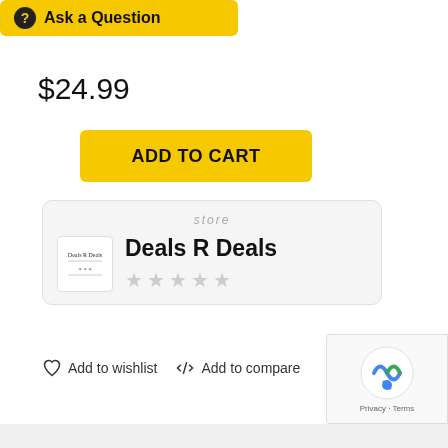Ask a Question
$24.99
ADD TO CART
store
Deals R Deals
Add to wishlist   Add to compare